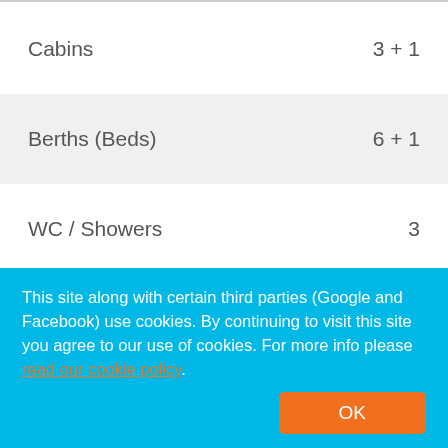| Specification | Value |
| --- | --- |
| Cabins | 3 + 1 |
| Berths (Beds) | 6 + 1 |
| WC / Showers | 3 |
| Max persons | 6 |
| Length over all | 17.06 |
| Beam | 9.15 |
| Draft | 1.40 |
| Engine | 2x75 hp Volv |
This site along with certain third parties (Google and Facebook) use cookies. By continuing to visit this site you agree to our use of cookies. For more info please read our cookie policy.